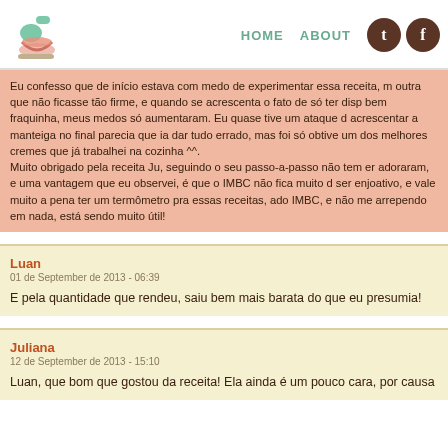HOME  ABOUT
Eu confesso que de início estava com medo de experimentar essa receita, m outra que não ficasse tão firme, e quando se acrescenta o fato de só ter disp bem fraquinha, meus medos só aumentaram. Eu quase tive um ataque d acrescentar a manteiga no final parecia que ia dar tudo errado, mas foi só obtive um dos melhores cremes que já trabalhei na cozinha ^^. Muito obrigado pela receita Ju, seguindo o seu passo-a-passo não tem er adoraram, e uma vantagem que eu observei, é que o IMBC não fica muito d ser enjoativo, e vale muito a pena ter um termômetro pra essas receitas, ado IMBC, e não me arrependo em nada, está sendo muito útil!
Luan
01 de September de 2013 - 06:39
E pela quantidade que rendeu, saiu bem mais barata do que eu presumia!
Juliana
12 de September de 2013 - 15:10
Luan, que bom que gostou da receita! Ela ainda é um pouco cara, por causa